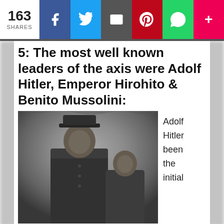163 SHARES
5: The most well known leaders of the axis were Adolf Hitler, Emperor Hirohito & Benito Mussolini:
[Figure (photo): Black and white portrait photograph of a man in military uniform with cap standing next to a young boy]
Adolf Hitler been the initial